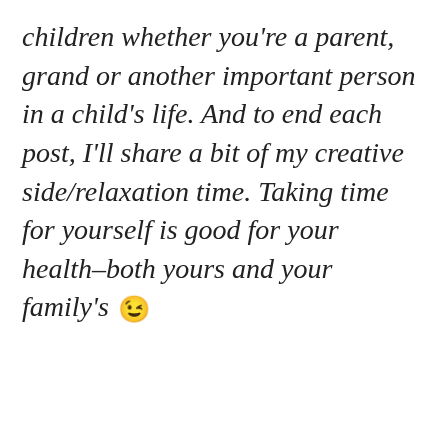children whether you're a parent, grand or another important person in a child's life. And to end each post, I'll share a bit of my creative side/relaxation time. Taking time for yourself is good for your health–both yours and your family's 😉